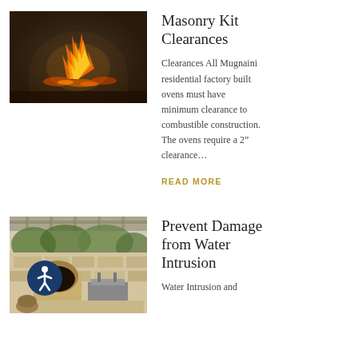[Figure (photo): Close-up photo of a wood-burning masonry oven with flames and burning logs visible inside an arched oven opening.]
Masonry Kit Clearances
Clearances All Mugnaini residential factory built ovens must have minimum clearance to combustible construction. The ovens require a 2” clearance…
READ MORE
[Figure (photo): Photo of an outdoor kitchen and patio area with a stone wood-fired oven, pergola, and lush garden background.]
Prevent Damage from Water Intrusion
Water Intrusion and